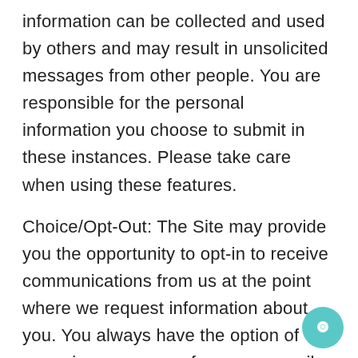information can be collected and used by others and may result in unsolicited messages from other people. You are responsible for the personal information you choose to submit in these instances. Please take care when using these features.
Choice/Opt-Out: The Site may provide you the opportunity to opt-in to receive communications from us at the point where we request information about you. You always have the option of removing your name from any e-mail list in order to discontinue any such future communications. In order to ensure immediate removal from any list, please follow the specific instructions set forth within the communications you receive from the